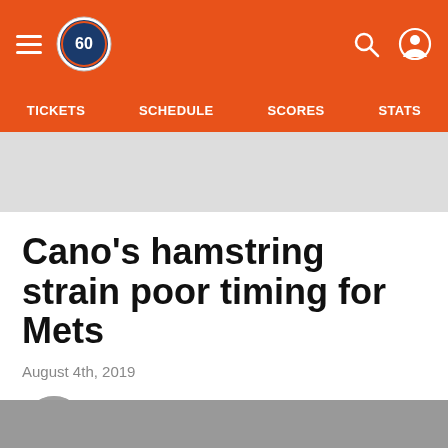New York Mets navigation header with hamburger menu, 60th anniversary logo, search and user icons
TICKETS  SCHEDULE  SCORES  STATS
Cano's hamstring strain poor timing for Mets
August 4th, 2019
Jake Crouse @JakeCrouseMLB
Share